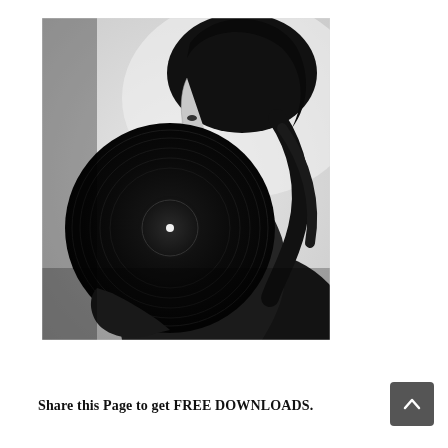[Figure (photo): Black and white photograph of a young woman in profile, holding a large vinyl record up near her face against a light gray background.]
Share this Page to get FREE DOWNLOADS.